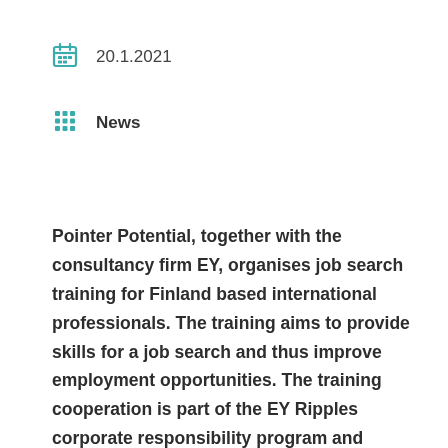20.1.2021
News
Pointer Potential, together with the consultancy firm EY, organises job search training for Finland based international professionals. The training aims to provide skills for a job search and thus improve employment opportunities. The training cooperation is part of the EY Ripples corporate responsibility program and training is provided on a pro bono basis.